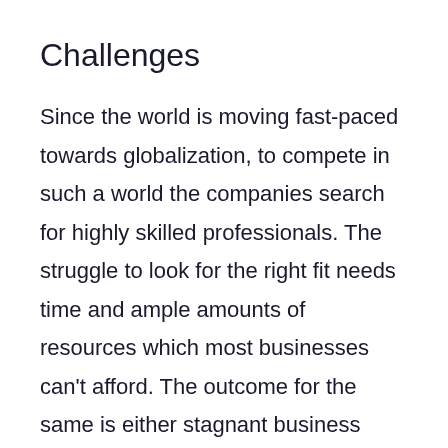Challenges
Since the world is moving fast-paced towards globalization, to compete in such a world the companies search for highly skilled professionals. The struggle to look for the right fit needs time and ample amounts of resources which most businesses can't afford. The outcome for the same is either stagnant business growth or less productivity. The reason for the same is that there is no standardized assessment system that can